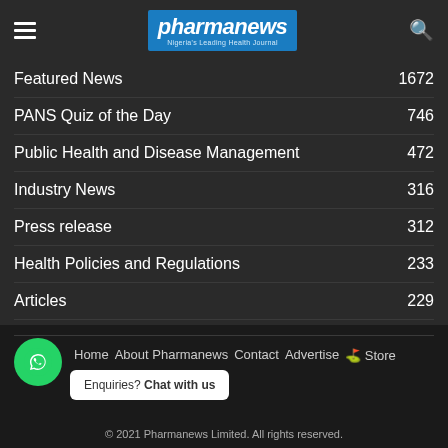[Figure (logo): Pharmanews logo — blue rectangle with white bold italic text 'pharmanews' and subtitle 'Nigeria's Leading Health Journal']
Featured News  1672
PANS Quiz of the Day  746
Public Health and Disease Management  472
Industry News  316
Press release  312
Health Policies and Regulations  233
Articles  229
Food and Nutrition  229
Home  About Pharmanews  Contact  Advertise  Book Store  Subscription  Enquiries? Chat with us  © 2021 Pharmanews Limited. All rights reserved.